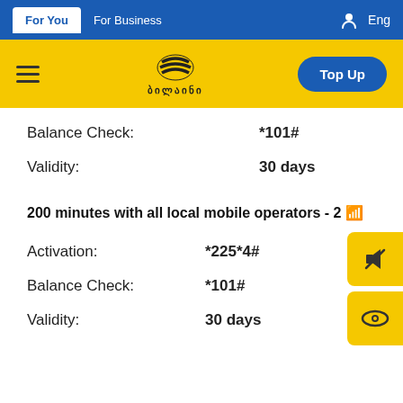For You | For Business | Eng
[Figure (logo): Beeline logo with yellow/black bee stripes and text 'Beeline' in yellow bar with hamburger menu and Top Up button]
Balance Check: *101#
Validity: 30 days
200 minutes with all local mobile operators - 2 🌐
Activation: *225*4#
Balance Check: *101#
Validity: 30 days